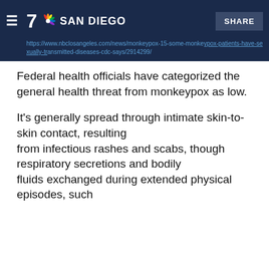NBC 7 SAN DIEGO | SHARE
https://www.nbclosangeles.com/news/monkeypox-15-some-monkeypox-patients-have-sexually-transmitted-diseases-cdc-says/2914299/
Federal health officials have categorized the general health threat from monkeypox as low.
It's generally spread through intimate skin-to-skin contact, resulting from infectious rashes and scabs, though respiratory secretions and bodily fluids exchanged during extended physical episodes, such